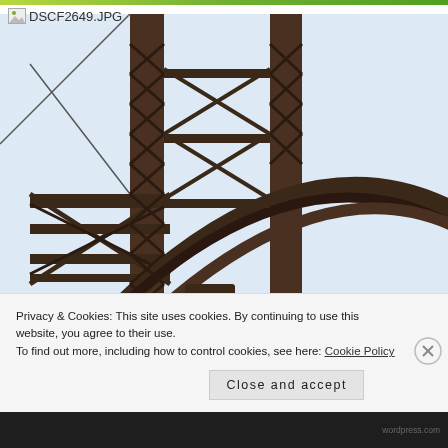[Figure (photo): Close-up photograph of a large steel railway/industrial truss bridge structure showing dark rusted metal lattice work, diagonal bracing, and curved arch elements against a light sky with green trees visible at the bottom right.]
DSCF2649.JPG
Privacy & Cookies: This site uses cookies. By continuing to use this website, you agree to their use.
To find out more, including how to control cookies, see here: Cookie Policy
Close and accept